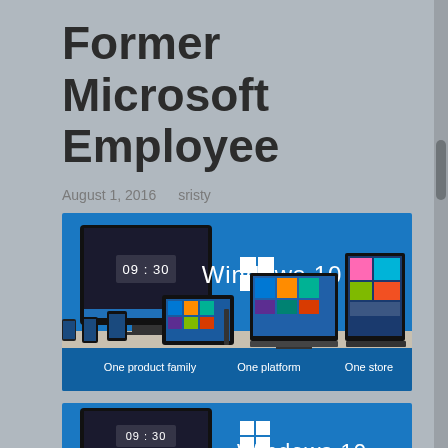Former Microsoft Employee
August 1, 2016    sristy
[Figure (photo): Windows 10 promotional image showing multiple devices (monitors, tablets, phones) on a table with text 'One product family', 'One platform', 'One store' and the Windows 10 logo]
[Figure (photo): Partial second Windows 10 promotional image, partially cropped at bottom of page, showing similar device lineup with Windows 10 logo]